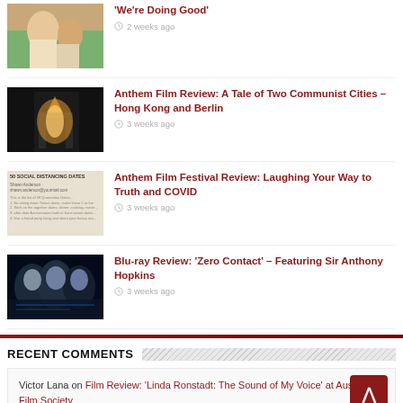[Figure (photo): Thumbnail photo - person outdoors]
'We're Doing Good'
2 weeks ago
[Figure (photo): Brandenburg Gate at sunset]
Anthem Film Review: A Tale of Two Communist Cities – Hong Kong and Berlin
3 weeks ago
[Figure (photo): 50 Social Distancing Dates document]
Anthem Film Festival Review: Laughing Your Way to Truth and COVID
3 weeks ago
[Figure (photo): Zero Contact movie poster with faces]
Blu-ray Review: 'Zero Contact' – Featuring Sir Anthony Hopkins
3 weeks ago
RECENT COMMENTS
Victor Lana on Film Review: 'Linda Ronstadt: The Sound of My Voice' at Austin Film Society